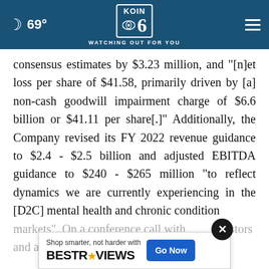69° | KOIN 6 | WATCHING OUT FOR YOU
consensus estimates by $3.23 million, and "[n]et loss per share of $41.58, primarily driven by [a] non-cash goodwill impairment charge of $6.6 billion or $41.11 per share[.]" Additionally, the Company revised its FY 2022 revenue guidance to $2.4 - $2.5 billion and adjusted EBITDA guidance to $240 - $265 million "to reflect dynamics we are currently experiencing in the [D2C] mental health and chronic condition markets". On a conference call with investors and a
[Figure (screenshot): BestReviews advertisement banner: 'Shop smarter, not harder with BESTREVIEWS — Go Now button']